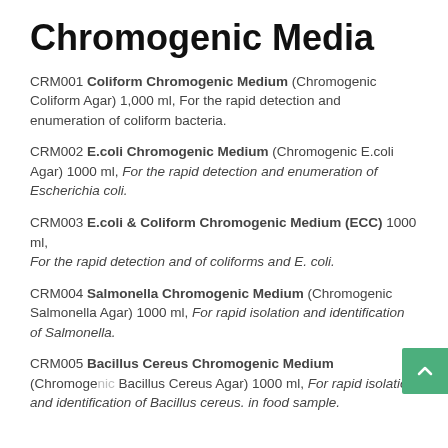Chromogenic Media
CRM001 Coliform Chromogenic Medium (Chromogenic Coliform Agar) 1,000 ml, For the rapid detection and enumeration of coliform bacteria.
CRM002 E.coli Chromogenic Medium (Chromogenic E.coli Agar) 1000 ml, For the rapid detection and enumeration of Escherichia coli.
CRM003 E.coli & Coliform Chromogenic Medium (ECC) 1000 ml, For the rapid detection and of coliforms and E. coli.
CRM004 Salmonella Chromogenic Medium (Chromogenic Salmonella Agar) 1000 ml, For rapid isolation and identification of Salmonella.
CRM005 Bacillus Cereus Chromogenic Medium (Chromogenic Bacillus Cereus Agar) 1000 ml, For rapid isolation and identification of Bacillus cereus. in food sample.